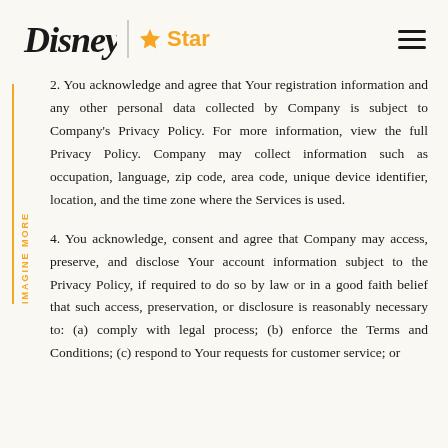Disney | Star
2. You acknowledge and agree that Your registration information and any other personal data collected by Company is subject to Company's Privacy Policy. For more information, view the full Privacy Policy. Company may collect information such as occupation, language, zip code, area code, unique device identifier, location, and the time zone where the Services is used.
4. You acknowledge, consent and agree that Company may access, preserve, and disclose Your account information subject to the Privacy Policy, if required to do so by law or in a good faith belief that such access, preservation, or disclosure is reasonably necessary to: (a) comply with legal process; (b) enforce the Terms and Conditions; (c) respond to Your requests for customer service; or